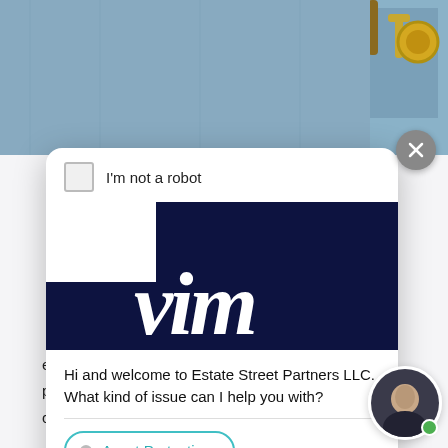[Figure (screenshot): Screenshot of a web page showing a chat popup from Estate Street Partners LLC overlaid on a document page. The popup includes a CAPTCHA 'I'm not a robot' checkbox, the VIM logo (dark navy block with cursive 'vim'), a welcome message, and an 'Asset Protection' button. A circular avatar photo of a man appears at top-left and bottom-right. Background text from the document is partially visible on the left side: 'experience, th', 'protection stra', 'creditor two (2', 'Option #1. YOU', 'to your credito', and 'or'.]
experience, th
protection stra
creditor two (2
Option #1. YOU
to your credito
or